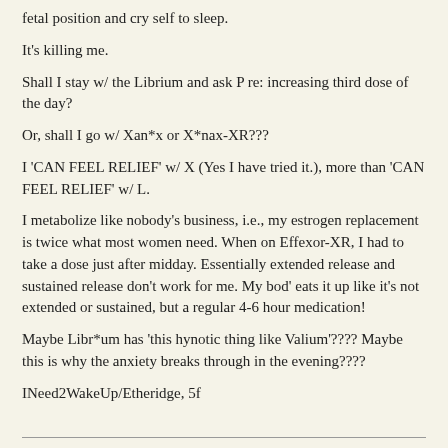fetal position and cry self to sleep.
It's killing me.
Shall I stay w/ the Librium and ask P re: increasing third dose of the day?
Or, shall I go w/ Xan*x or X*nax-XR???
I 'CAN FEEL RELIEF' w/ X (Yes I have tried it.), more than 'CAN FEEL RELIEF' w/ L.
I metabolize like nobody's business, i.e., my estrogen replacement is twice what most women need. When on Effexor-XR, I had to take a dose just after midday. Essentially extended release and sustained release don't work for me. My bod' eats it up like it's not extended or sustained, but a regular 4-6 hour medication!
Maybe Libr*um has 'this hynotic thing like Valium'???? Maybe this is why the anxiety breaks through in the evening????
INeed2WakeUp/Etheridge, 5f